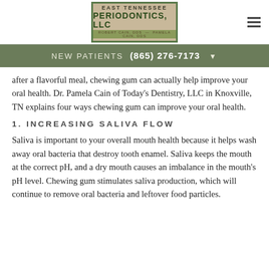[Figure (logo): East Tennessee Periodontics, LLC logo with decorative border, Robert Cain DDS - Pamela Cain DDS]
NEW PATIENTS (865) 276-7173
after a flavorful meal, chewing gum can actually help improve your oral health. Dr. Pamela Cain of Today's Dentistry, LLC in Knoxville, TN explains four ways chewing gum can improve your oral health.
1. INCREASING SALIVA FLOW
Saliva is important to your overall mouth health because it helps wash away oral bacteria that destroy tooth enamel. Saliva keeps the mouth at the correct pH, and a dry mouth causes an imbalance in the mouth's pH level. Chewing gum stimulates saliva production, which will continue to remove oral bacteria and leftover food particles.